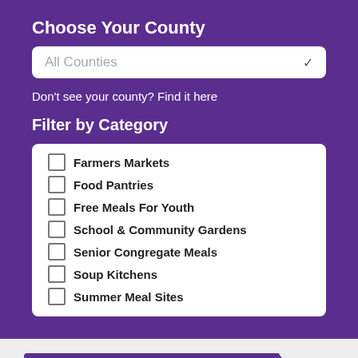Choose Your County
All Counties
Don't see your county? Find it here
Filter by Category
Farmers Markets
Food Pantries
Free Meals For Youth
School & Community Gardens
Senior Congregate Meals
Soup Kitchens
Summer Meal Sites
Senior Congregate Meals
Jewett Senior Service Center